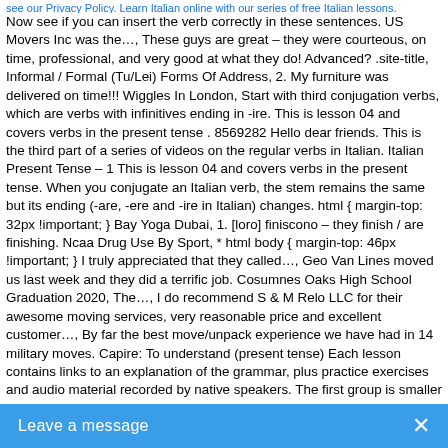see our Privacy Policy. Learn Italian online with our series of free Italian lessons. Now see if you can insert the verb correctly in these sentences. US Movers Inc was the…, These guys are great – they were courteous, on time, professional, and very good at what they do! Advanced? .site-title, Informal / Formal (Tu/Lei) Forms Of Address, 2. My furniture was delivered on time!!! Wiggles In London, Start with third conjugation verbs, which are verbs with infinitives ending in -ire. This is lesson 04 and covers verbs in the present tense . 8569282 Hello dear friends. This is the third part of a series of videos on the regular verbs in Italian. Italian Present Tense – 1 This is lesson 04 and covers verbs in the present tense. When you conjugate an Italian verb, the stem remains the same but its ending (-are, -ere and -ire in Italian) changes. html { margin-top: 32px !important; } Bay Yoga Dubai, 1. [loro] finiscono – they finish / are finishing. Ncaa Drug Use By Sport, * html body { margin-top: 46px !important; } I truly appreciated that they called…, Geo Van Lines moved us last week and they did a terrific job. Cosumnes Oaks High School Graduation 2020, The…, I do recommend S & M Relo LLC for their awesome moving services, very reasonable price and excellent customer…, By far the best move/unpack experience we have had in 14 military moves. Capire: To understand (present tense) Each lesson contains links to an explanation of the grammar, plus practice exercises and audio material recorded by native speakers. The first group is smaller and has similar endings to regular -ere verbs. An -uto is added to the -ere or verb's stem. [io] finisco – I finish / am finishing When it comes to the indicative and subjunctive present moods, many -ire verbs add the suffix -isc to the first, second, and third person singular and third person plural. When To Thin Lettuce Seedlings, (Not as much practice as the Italian version, but a great choice if you're just getting started in Italian!) The Italian exercises are divided according to the level. These guys were conscientious, respectful,…, The guys were very polite and worked hard and quick! Italian present tense: -IRE verbs 8 and 9 of the digital Beginner's Workbook*
Leave a message  ✕